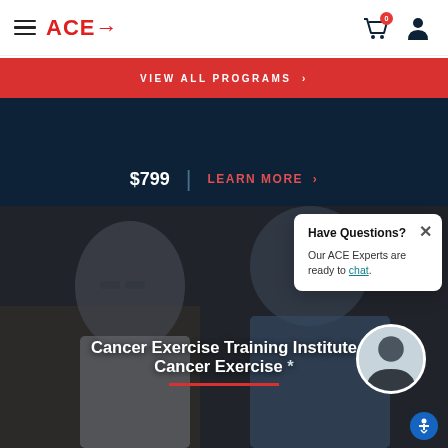ACE→ navigation header with hamburger menu, cart icon (0 items), and profile icon
VIEW ALL PROGRAMS >
$799 | LEARN MORE >
[Figure (photo): Elderly patient in glasses being assisted, Cancer Exercise Training Institute scene with dark overlay]
Cancer Exercise Training Institute Cancer Exercise *
Have Questions? Our ACE Experts are ready to chat.